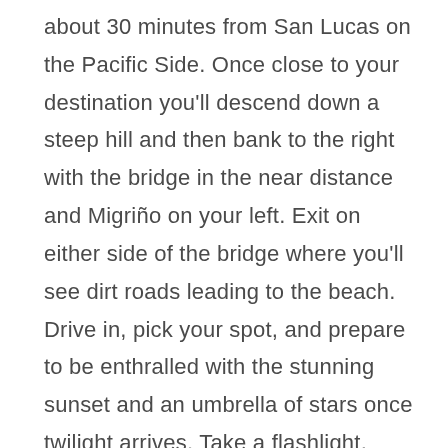about 30 minutes from San Lucas on the Pacific Side. Once close to your destination you'll descend down a steep hill and then bank to the right with the bridge in the near distance and Migriño on your left. Exit on either side of the bridge where you'll see dirt roads leading to the beach. Drive in, pick your spot, and prepare to be enthralled with the stunning sunset and an umbrella of stars once twilight arrives. Take a flashlight, drinks, snacks and enjoy an unforgettable and peaceful experience. It's golfina sea turtle nesting time so don't be surprised to see patrols out or turtle tracks, too. Scavenger Hunt in Cabo This fun challenge begins at a